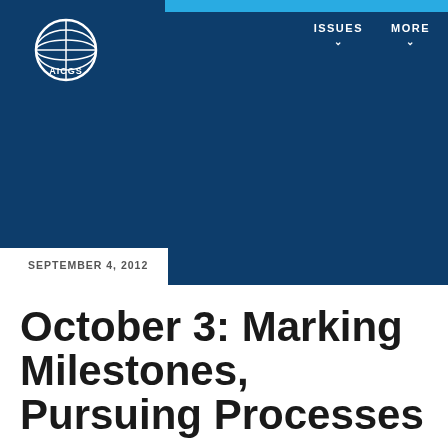AICGS | ISSUES | MORE
SEPTEMBER 4, 2012
October 3: Marking Milestones, Pursuing Processes